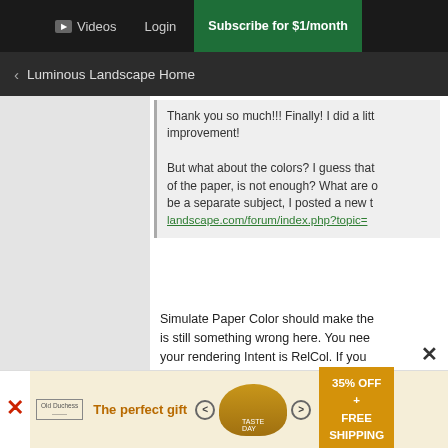▶ Videos   Login   Subscribe for $1/month
< Luminous Landscape Home
Thank you so much!!! Finally! I did a little improvement!

But what about the colors? I guess that of the paper, is not enough? What are o be a separate subject, I posted a new t landscape.com/forum/index.php?topic=
Simulate Paper Color should make the is still something wrong here. You nee your rendering Intent is RelCol. If you Black Ink is checked by default and yo paper color.
There hasn't been much discussion he in a rather dimly lit environment, 80 co correct setting to be in the range of 10 suggesting that the problem started hardware and software you profili
[Figure (infographic): Advertisement banner: The perfect gift, 35% OFF + FREE SHIPPING, with food bowl image and navigation arrows]